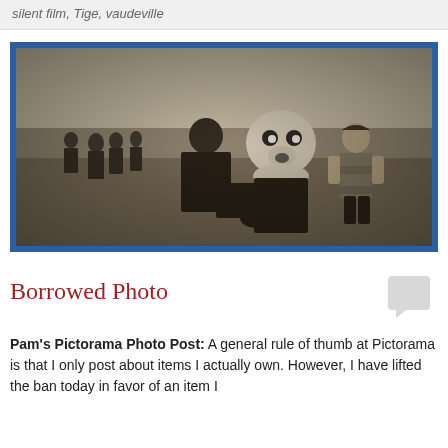silent film, Tige, vaudeville
[Figure (photo): Vintage sepia-toned photograph with blue border showing people outdoors in a field. A person in a dark costume holds a large dog-headed figure (resembling a circus/vaudeville character) while a girl in a ruffled dress stands to the right. Other figures visible in background.]
Borrowed Photo
Pam's Pictorama Photo Post: A general rule of thumb at Pictorama is that I only post about items I actually own. However, I have lifted the ban today in favor of an item I